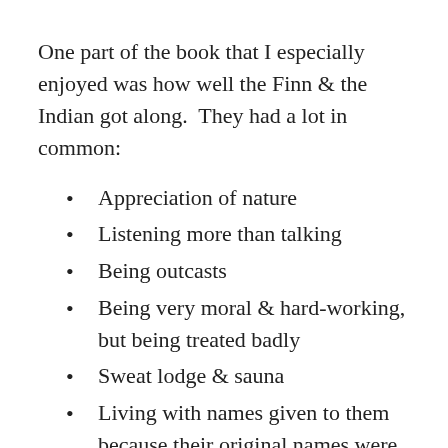One part of the book that I especially enjoyed was how well the Finn & the Indian got along. They had a lot in common:
Appreciation of nature
Listening more than talking
Being outcasts
Being very moral & hard-working, but being treated badly
Sweat lodge & sauna
Living with names given to them because their original names were too difficult for people
I was also struck with how hard that had to be for